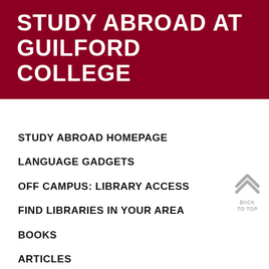STUDY ABROAD AT GUILFORD COLLEGE
STUDY ABROAD HOMEPAGE
LANGUAGE GADGETS
OFF CAMPUS: LIBRARY ACCESS
FIND LIBRARIES IN YOUR AREA
BOOKS
ARTICLES
CITE SOURCES ↗
RESEARCH, TUTORING, & WRITING SUPPORT